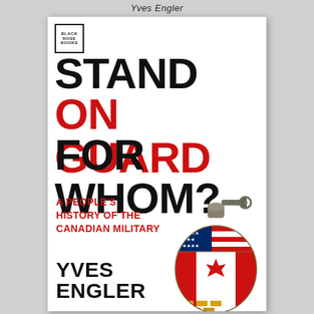Yves Engler
[Figure (illustration): Book cover for 'Stand On Guard For Whom? A People's History of the Canadian Military' by Yves Engler. Published by Black Rose Books. Features large bold title text in black and red with an image of a grenade wrapped in American and Canadian flag imagery.]